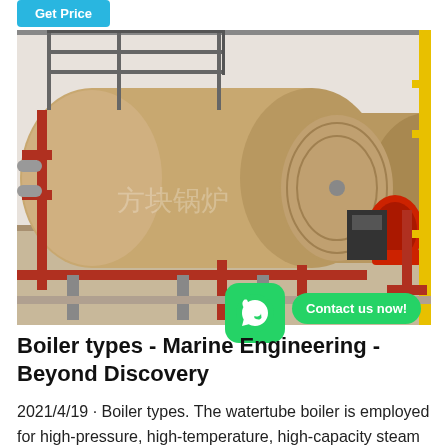[Figure (screenshot): Get Price button - teal/cyan colored button at top left]
[Figure (photo): Industrial boiler installation showing large cylindrical horizontal gas/oil-fired steam boilers in a factory setting. Tan/beige colored boilers with red piping, metal supports, and a red burner unit visible on the right. Chinese watermark text visible on the image.]
Boiler types - Marine Engineering - Beyond Discovery
2021/4/19 · Boiler types. The watertube boiler is employed for high-pressure, high-temperature, high-capacity steam